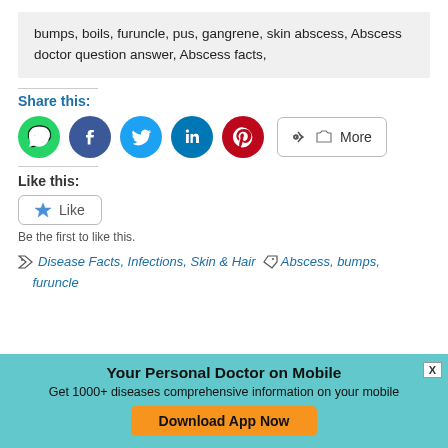bumps, boils, furuncle, pus, gangrene, skin abscess, Abscess doctor question answer, Abscess facts,
Share this:
[Figure (infographic): Social share buttons: WhatsApp (green), Facebook (blue), Twitter (cyan), LinkedIn (dark blue), Pinterest (red), and a More button]
Like this:
[Figure (infographic): Like button with star icon]
Be the first to like this.
Disease Facts, Infections, Skin & Hair — Abscess, bumps, furuncle
Your Personal Doctor on Mobile
Get 1000+ diseases comprehensive information on your mobile
Download App Now